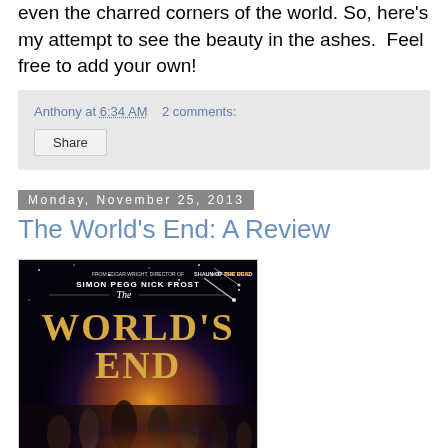even the charred corners of the world. So, here's my attempt to see the beauty in the ashes.  Feel free to add your own!
Anthony at 6:34 AM    2 comments:
Share
Monday, November 25, 2013
The World's End: A Review
[Figure (photo): Movie poster for The World's End featuring Simon Pegg and Nick Frost, with starry sky background and large golden text reading WORLD'S END]